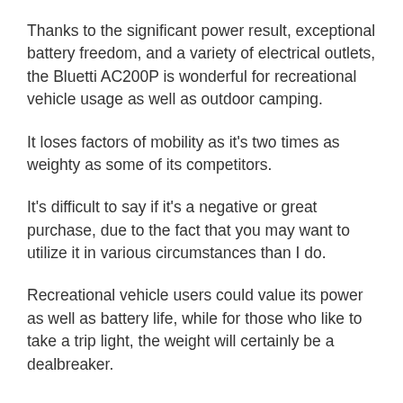Thanks to the significant power result, exceptional battery freedom, and a variety of electrical outlets, the Bluetti AC200P is wonderful for recreational vehicle usage as well as outdoor camping.
It loses factors of mobility as it's two times as weighty as some of its competitors.
It's difficult to say if it's a negative or great purchase, due to the fact that you may want to utilize it in various circumstances than I do.
Recreational vehicle users could value its power as well as battery life, while for those who like to take a trip light, the weight will certainly be a dealbreaker.